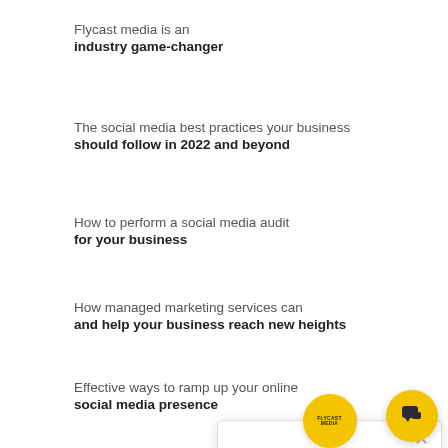Flycast media is an industry game-changer
The social media best practices your business should follow in 2022 and beyond
How to perform a social media audit for your business
How managed marketing services can and help your business reach new heights
Effective ways to ramp up your online social media presence
Conversion rate optimisation for uk small businesses
Lead generation for your business
[Figure (other): Chat popup overlay showing Flycast Media logo on yellow circle and 'Want a FREE Website audit?' message with X close button, plus a yellow chat bubble button at bottom right]
CHECK OUR